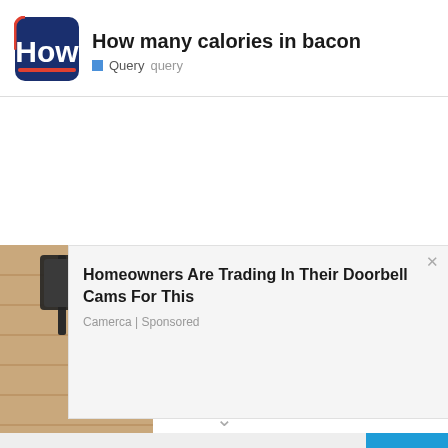[Figure (logo): How logo - dark blue rounded rectangle with 'How' in white bold text and red underline accent]
How many calories in bacon
Query  query
[Figure (photo): Security camera mounted on an exterior wall lamp bracket, brick wall background]
Homeowners Are Trading In Their Doorbell Cams For This
Camerca | Sponsored
How m
ntents